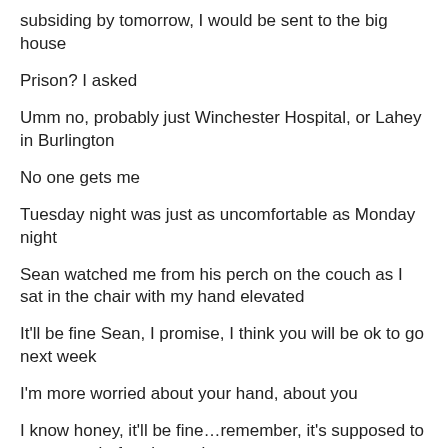subsiding by tomorrow, I would be sent to the big house
Prison? I asked
Umm no, probably just Winchester Hospital, or Lahey in Burlington
No one gets me
Tuesday night was just as uncomfortable as Monday night
Sean watched me from his perch on the couch as I sat in the chair with my hand elevated
It'll be fine Sean, I promise, I think you will be ok to go next week
I'm more worried about your hand, about you
I know honey, it'll be fine…remember, it's supposed to get worse before it gets better